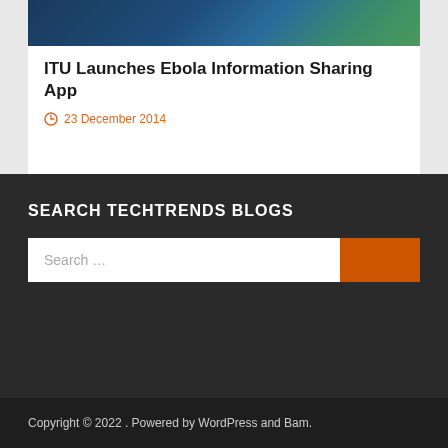[Figure (photo): Satellite or aerial map image of a geographic region, dark blue ocean and green land tones]
ITU Launches Ebola Information Sharing App
23 December 2014
SEARCH TECHTRENDS BLOGS
Search …
Copyright © 2022 . Powered by WordPress and Bam.